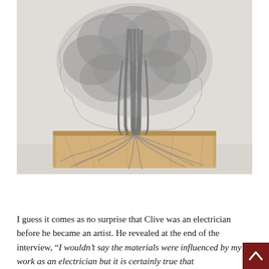[Figure (photo): A detailed wire sculpture of a tree with intricate twisted wire branches forming a full canopy and exposed roots spreading out on a wooden rectangular base. The sculpture is metallic silver/grey in color, set against a light grey background.]
Save
I guess it comes as no surprise that Clive was an electrician before he became an artist. He revealed at the end of the interview, "I wouldn't say the materials were influenced by my work as an electrician but it is certainly true that manipulating
[Figure (other): Scroll to top button — dark red square with a white upward-pointing chevron arrow]